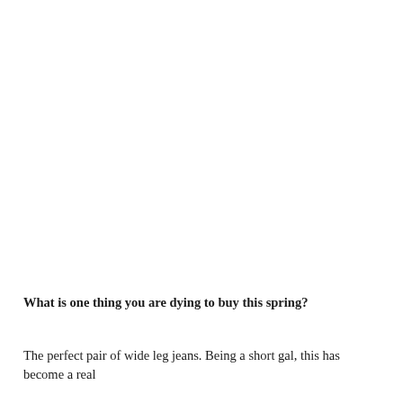What is one thing you are dying to buy this spring?
The perfect pair of wide leg jeans. Being a short gal, this has become a real